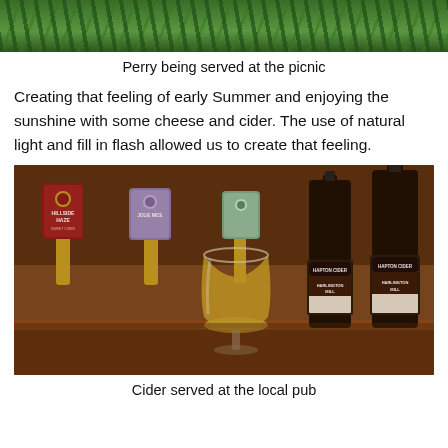[Figure (photo): Top portion of a photo showing green leafy plants/ferns from above, cropped at the top of the page.]
Perry being served at the picnic
Creating that feeling of early Summer and enjoying the sunshine with some cheese and cider. The use of natural light and fill in flash allowed us to create that feeling.
[Figure (photo): Photo of cider bottles labeled 'Hapton Cider - Harlington Mill' and a tulip glass filled with amber cider, set on a pub bar counter with beer tap handles in the background including 'Hillside Haze' and other pump clips.]
Cider served at the local pub